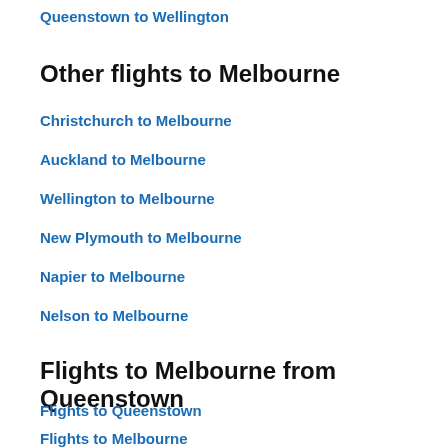Queenstown to Wellington
Other flights to Melbourne
Christchurch to Melbourne
Auckland to Melbourne
Wellington to Melbourne
New Plymouth to Melbourne
Napier to Melbourne
Nelson to Melbourne
Flights to Melbourne from Queenstown
Flights to Queenstown
Flights to Melbourne